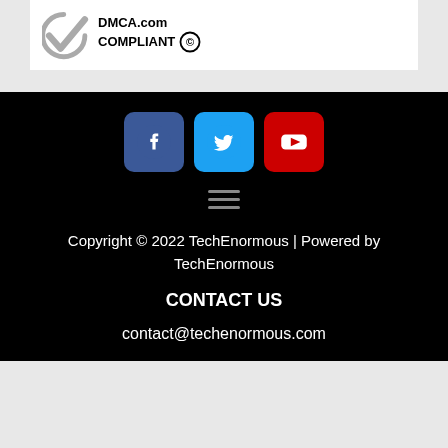[Figure (logo): DMCA.com Compliant badge with checkmark and copyright symbol]
[Figure (infographic): Three social media icons: Facebook (blue), Twitter (light blue), YouTube (red), each in rounded square buttons]
[Figure (other): Hamburger menu icon with three horizontal white lines]
Copyright © 2022 TechEnormous | Powered by TechEnormous
CONTACT US
contact@techenormous.com